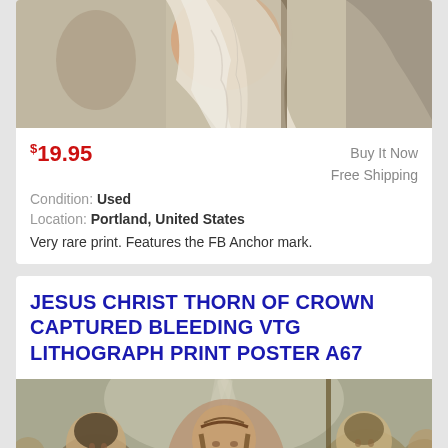[Figure (photo): Partial view of a religious figure/saint holding a staff, draped in white cloth, vintage lithograph style]
$19.95
Buy It Now
Free Shipping
Condition: Used
Location: Portland, United States
Very rare print. Features the FB Anchor mark.
JESUS CHRIST THORN OF CROWN CAPTURED BLEEDING VTG LITHOGRAPH PRINT POSTER A67
[Figure (photo): Vintage lithograph print showing Jesus Christ with crown of thorns, surrounded by Roman soldiers, with rays of light above]